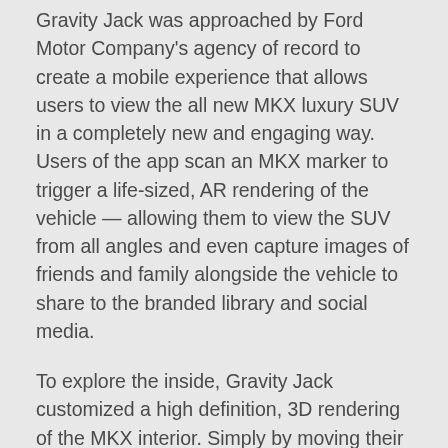Gravity Jack was approached by Ford Motor Company's agency of record to create a mobile experience that allows users to view the all new MKX luxury SUV in a completely new and engaging way. Users of the app scan an MKX marker to trigger a life-sized, AR rendering of the vehicle — allowing them to view the SUV from all angles and even capture images of friends and family alongside the vehicle to share to the branded library and social media.
To explore the inside, Gravity Jack customized a high definition, 3D rendering of the MKX interior. Simply by moving their device around, users can pan and view the interior as though they were sitting in the driver's seat.
A key element of this project was the requirement to develop the application natively in Mandarin. While a